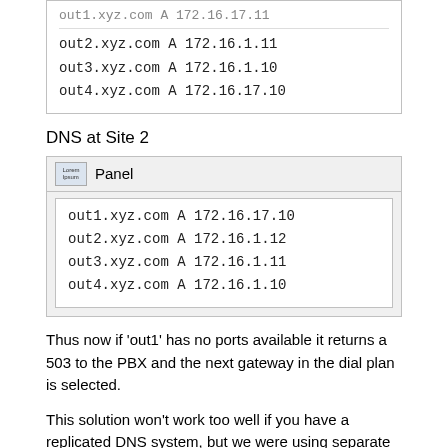[Figure (screenshot): Panel/code block showing DNS A records: out2.xyz.com A 172.16.1.11, out3.xyz.com A 172.16.1.10, out4.xyz.com A 172.16.17.10]
DNS at Site 2
[Figure (screenshot): Panel titled 'Panel' containing code block with DNS A records: out1.xyz.com A 172.16.17.10, out2.xyz.com A 172.16.1.12, out3.xyz.com A 172.16.1.11, out4.xyz.com A 172.16.1.10]
Thus now if 'out1' has no ports available it returns a 503 to the PBX and the next gateway in the dial plan is selected.
This solution won't work too well if you have a replicated DNS system, but we were using separate DNS servers from the data network for the phones / PBX.
BTW, we did the same sort of thing for 911 dialing. In the 911 dial plan we created a single e911.xyz.com gateway and then with DNS at each of the remote sites made that resolve to the actual